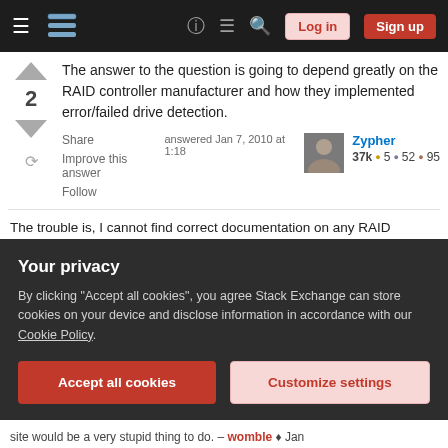Stack Exchange navigation bar with Log in and Sign up buttons
The answer to the question is going to depend greatly on the RAID controller manufacturer and how they implemented error/failed drive detection.
Share | answered Jan 7, 2010 at 1:18 | Zypher | 37k ●5 ●52 ●95 | Improve this answer | Follow
The trouble is, I cannot find correct documentation on any RAID controllers how they do this! Its really frustrating to try to find documentation on their error recovery procedures. This I think they do not openly release because trade secrets. Though if you know
Your privacy
By clicking "Accept all cookies", you agree Stack Exchange can store cookies on your device and disclose information in accordance with our Cookie Policy.
Accept all cookies | Customize settings
site would be a very stupid thing to do. – womble ♦ Jan